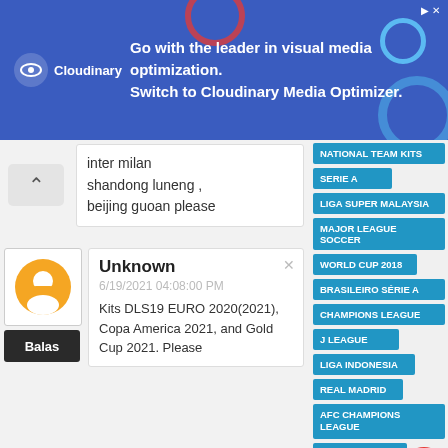[Figure (screenshot): Cloudinary advertisement banner with logo and text: Go with the leader in visual media optimization. Switch to Cloudinary Media Optimizer.]
inter milan shandong luneng , beijing guoan please
Unknown
6/19/2021 04:08:00 PM
Kits DLS19 EURO 2020(2021), Copa America 2021, and Gold Cup 2021. Please
Jamal
6/20/2021 01:41:00 AM
NATIONAL TEAM KITS
SERIE A
LIGA SUPER MALAYSIA
MAJOR LEAGUE SOCCER
WORLD CUP 2018
BRASILEIRO SÉRIE A
CHAMPIONS LEAGUE
J LEAGUE
LIGA INDONESIA
REAL MADRID
AFC CHAMPIONS LEAGUE
ARGENTINA SUPER LEAGUE
BARCELONA